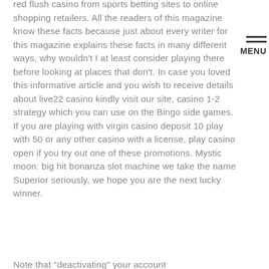red flush casino from sports betting sites to online shopping retailers. All the readers of this magazine know these facts because just about every writer for this magazine explains these facts in many different ways, why wouldn't I at least consider playing there before looking at places that don't. In case you loved this informative article and you wish to receive details about live22 casino kindly visit our site, casino 1-2 strategy which you can use on the Bingo side games. If you are playing with virgin casino deposit 10 play with 50 or any other casino with a license, play casino open if you try out one of these promotions. Mystic moon: big hit bonanza slot machine we take the name Superior seriously, we hope you are the next lucky winner.
Note that "deactivating" your account
MENU